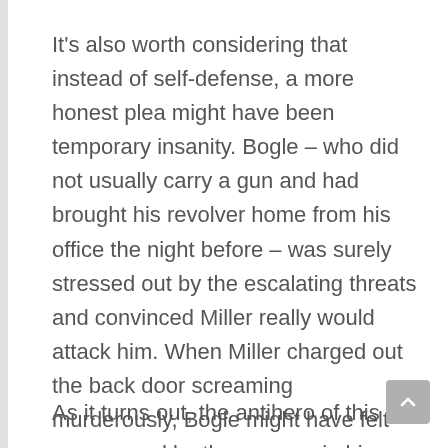It's also worth considering that instead of self-defense, a more honest plea might have been temporary insanity. Bogle – who did not usually carry a gun and had brought his revolver home from his office the night before – was surely stressed out by the escalating threats and convinced Miller really would attack him. When Miller charged out the back door screaming murderously, Bogle might have felt empowered by the weapon in his pocket and blasted away in a panic.
As it turns out, the antihero of this